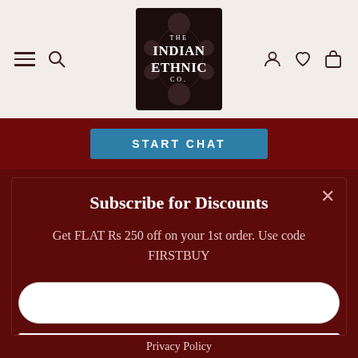[Figure (logo): The Indian Ethnic Co. logo — dark box with decorative leaf pattern background and white serif text]
START CHAT
Subscribe for Discounts
Get FLAT Rs 250 off on your 1st order. Use code FIRSTBUY
SUBSCRIBE
Privacy Policy